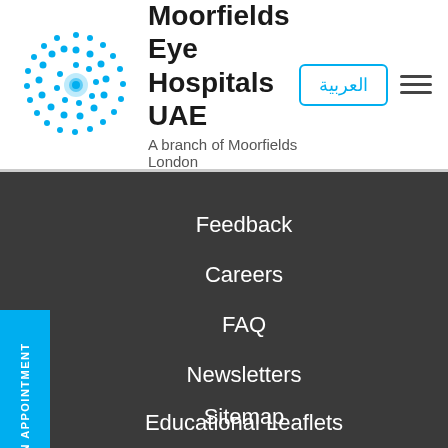[Figure (logo): Moorfields Eye Hospitals UAE logo with blue sunburst circular graphic and text 'Moorfields Eye Hospitals UAE — A branch of Moorfields London']
Feedback
Careers
FAQ
Newsletters
Educational Leaflets
BOOK AN APPOINTMENT
Sitemap